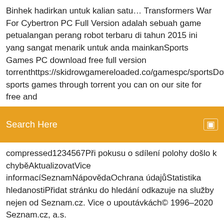Binhek hadirkan untuk kalian satu… Transformers War For Cybertron PC Full Version adalah sebuah game petualangan perang robot terbaru di tahun 2015 ini yang sangat menarik untuk anda mainkanSports Games PC download free full version torrenthttps://skidrowgamereloaded.co/gamespc/sportsDownload sports games through torrent you can on our site for free and
[Figure (screenshot): Orange/amber search bar UI element with 'Search Here' placeholder text and a small icon on the right]
compressed1234567Při pokusu o sdílení polohy došlo k chyběAktualizovatVice informacíSeznamNápovědaOchrana údajůStatistika hledanostiPřidat stránku do hledání odkazuje na služby nejen od Seznam.cz. Vice o upoutávkách© 1996–2020 Seznam.cz, a.s.
Pro Evolution Soccer 2019 (abbreviated as PES 2019) is a football simulation video game developed by PES Productions and published by
26 Dec 2018 This video will show you how to download and